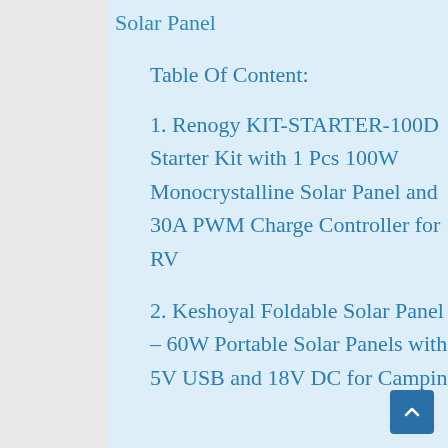Solar Panel
Table Of Content:
1. Renogy KIT-STARTER-100D Starter Kit with 1 Pcs 100W Monocrystalline Solar Panel and 30A PWM Charge Controller for RV
2. Keshoyal Foldable Solar Panel – 60W Portable Solar Panels with 5V USB and 18V DC for Camping